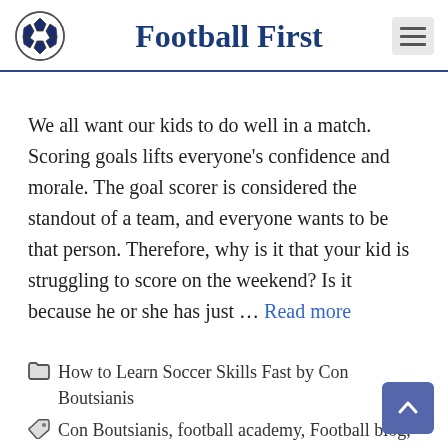Football First
We all want our kids to do well in a match. Scoring goals lifts everyone's confidence and morale. The goal scorer is considered the standout of a team, and everyone wants to be that person. Therefore, why is it that your kid is struggling to score on the weekend? Is it because he or she has just … Read more
How to Learn Soccer Skills Fast by Con Boutsianis
Con Boutsianis, football academy, Football blog, Football First, football tips, soccer academy, soccer